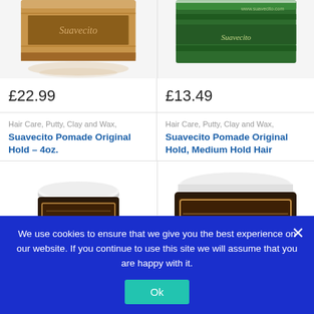[Figure (photo): Top portion of Suavecito pomade tin product image, cropped]
[Figure (photo): Top portion of green Suavecito pomade tin product image, showing www.suavecito.com label]
£22.99
£13.49
Hair Care, Putty, Clay and Wax,
Suavecito Pomade Original Hold – 4oz.
Hair Care, Putty, Clay and Wax,
Suavecito Pomade Original Hold, Medium Hold Hair
[Figure (photo): Suavecito Pomade jar, dark brown label with gold Suavecito lettering, white lid]
[Figure (photo): Large Suavecito Pomade jar, dark brown label with gold Suavecito lettering, white lid, partially cropped]
We use cookies to ensure that we give you the best experience on our website. If you continue to use this site we will assume that you are happy with it.